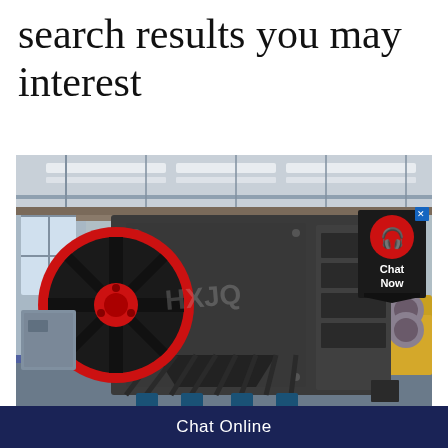search results you may interest
[Figure (photo): Industrial jaw crusher machine with red and black flywheel, dark grey body with ribbed side panels, mounted on blue support legs, photographed inside a large manufacturing factory warehouse with overhead crane visible in background. A 'Chat Now' button overlay appears in the upper right corner of the image.]
Chat Online